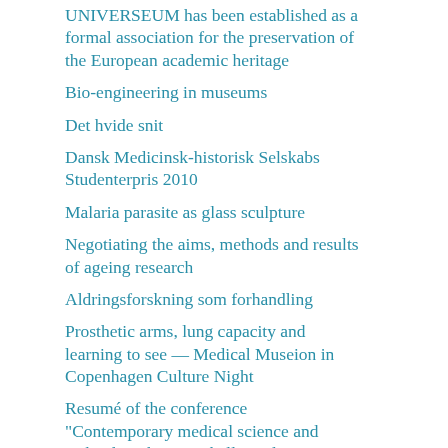UNIVERSEUM has been established as a formal association for the preservation of the European academic heritage
Bio-engineering in museums
Det hvide snit
Dansk Medicinsk-historisk Selskabs Studenterpris 2010
Malaria parasite as glass sculpture
Negotiating the aims, methods and results of ageing research
Aldringsforskning som forhandling
Prosthetic arms, lung capacity and learning to see — Medical Museion in Copenhagen Culture Night
Resumé of the conference "Contemporary medical science and technology between halls et al..."